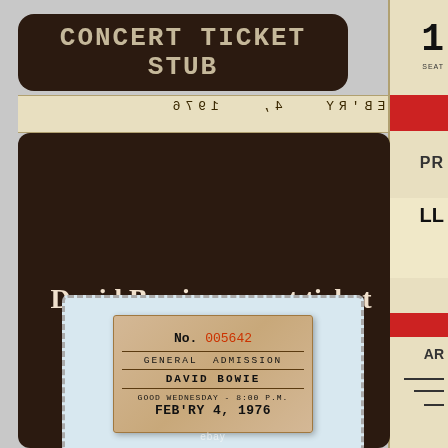Concert Ticket Stub
[Figure (photo): A photograph of a vintage concert ticket stub for David Bowie, dated FEB'RY 4, 1976, General Admission, good Wednesday 8:00 P.M., ticket number 005642, shown against a light blue fabric background with a dashed border.]
David Bowie concert ticket stub (Feb. 4, 1976) Memorial Coliseum, Portland, OR
No. 005642
GENERAL ADMISSION
DAVID BOWIE
GOOD WEDNESDAY - 8:00 P.M.
FEB'RY 4, 1976